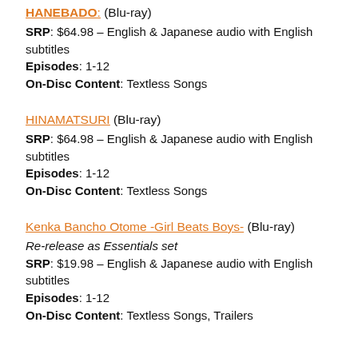HANEBADO: (Blu-ray) SRP: $64.98 – English & Japanese audio with English subtitles Episodes: 1-12 On-Disc Content: Textless Songs
HINAMATSURI (Blu-ray) SRP: $64.98 – English & Japanese audio with English subtitles Episodes: 1-12 On-Disc Content: Textless Songs
Kenka Bancho Otome -Girl Beats Boys- (Blu-ray) Re-release as Essentials set SRP: $19.98 – English & Japanese audio with English subtitles Episodes: 1-12 On-Disc Content: Textless Songs, Trailers